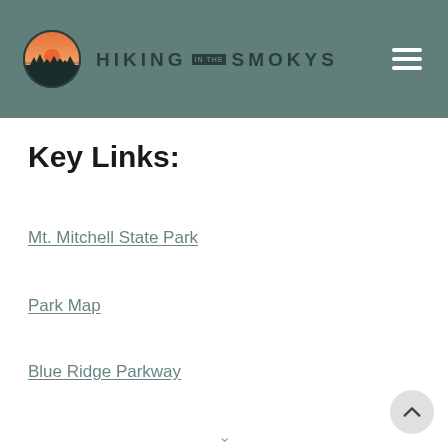HIKING IN THE SMOKYS
Key Links:
Mt. Mitchell State Park
Park Map
Blue Ridge Parkway